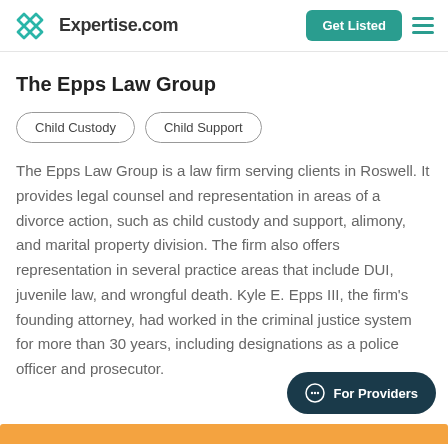Expertise.com
The Epps Law Group
Child Custody
Child Support
The Epps Law Group is a law firm serving clients in Roswell. It provides legal counsel and representation in areas of a divorce action, such as child custody and support, alimony, and marital property division. The firm also offers representation in several practice areas that include DUI, juvenile law, and wrongful death. Kyle E. Epps III, the firm's founding attorney, had worked in the criminal justice system for more than 30 years, including designations as a police officer and prosecutor.